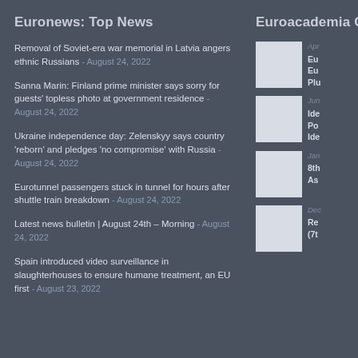Euronews: Top News
Removal of Soviet-era war memorial in Latvia angers ethnic Russians - August 24, 2022
Sanna Marin: Finland prime minister says sorry for guests' topless photo at government residence - August 24, 2022
Ukraine independence day: Zelenskyy says country 'reborn' and pledges 'no compromise' with Russia - August 24, 2022
Eurotunnel passengers stuck in tunnel for hours after shuttle train breakdown - August 24, 2022
Latest news bulletin | August 24th – Morning - August 24, 2022
Spain introduced video surveillance in slaughterhouses to ensure humane treatment, an EU first - August 23, 2022
Euroacademia C
[Figure (photo): Thumbnail image 1]
Apr
Eu
Eu
Plu
[Figure (photo): Thumbnail image 2]
Jun
Ide
Po
Ide
[Figure (photo): Thumbnail image 3]
Jan
8th
As
[Figure (photo): Thumbnail image 4]
Dec
Re
(7t